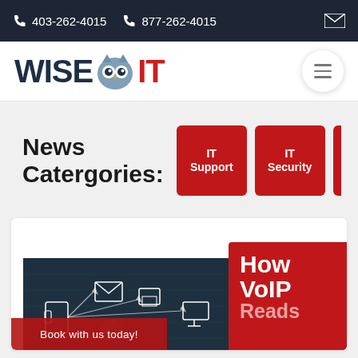403-262-4015   877-262-4015
[Figure (logo): WiseOwl IT logo with owl eyes graphic between WISE and IT text]
News Catergories:
IT Support
IT Security
[Figure (screenshot): Dark tech background with VoIP network icons showing phone, email, tablet, server connections]
How VoIP Reads
Book with us today!